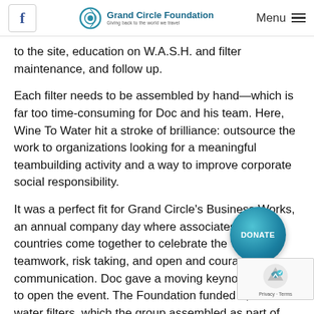Grand Circle Foundation — Giving back to the world we travel | Menu
to the site, education on W.A.S.H. and filter maintenance, and follow up.
Each filter needs to be assembled by hand—which is far too time-consuming for Doc and his team. Here, Wine To Water hit a stroke of brilliance: outsource the work to organizations looking for a meaningful teambuilding activity and a way to improve corporate social responsibility.
It was a perfect fit for Grand Circle's Business Works, an annual company day where associates from countries come together to celebrate the values of teamwork, risk taking, and open and courageous communication. Doc gave a moving keynote speech to open the event. The Foundation funded 1,000 water filters, which the group assembled as part of